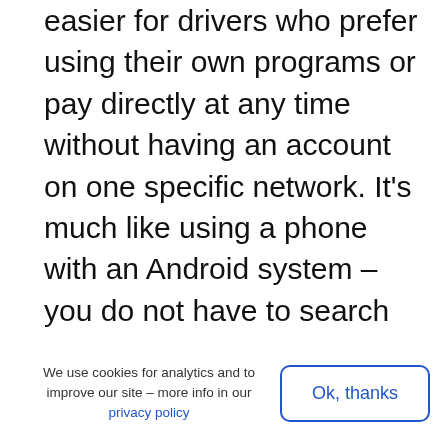easier for drivers who prefer using their own programs or pay directly at any time without having an account on one specific network. It's much like using a phone with an Android system – you do not have to search for specific chargers or apps as there is a wide standardization allowing users to use various different types as they are all unified.
We use cookies for analytics and to improve our site – more info in our privacy policy
Ok, thanks